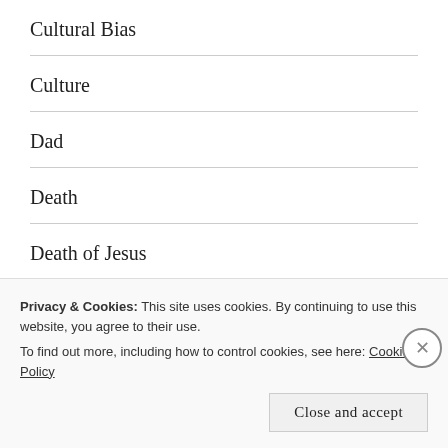Cultural Bias
Culture
Dad
Death
Death of Jesus
Deceived
Deception
Decisions
Defeated
Privacy & Cookies: This site uses cookies. By continuing to use this website, you agree to their use.
To find out more, including how to control cookies, see here: Cookie Policy